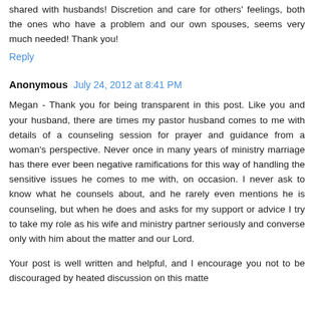shared with husbands! Discretion and care for others' feelings, both the ones who have a problem and our own spouses, seems very much needed! Thank you!
Reply
Anonymous  July 24, 2012 at 8:41 PM
Megan - Thank you for being transparent in this post. Like you and your husband, there are times my pastor husband comes to me with details of a counseling session for prayer and guidance from a woman's perspective. Never once in many years of ministry marriage has there ever been negative ramifications for this way of handling the sensitive issues he comes to me with, on occasion. I never ask to know what he counsels about, and he rarely even mentions he is counseling, but when he does and asks for my support or advice I try to take my role as his wife and ministry partner seriously and converse only with him about the matter and our Lord.
Your post is well written and helpful, and I encourage you not to be discouraged by heated discussion on this matter.